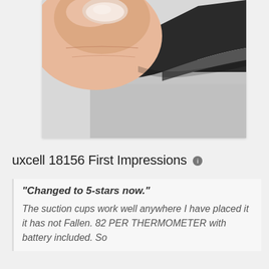[Figure (photo): Close-up photo of a finger peeling back a dark felt/foam backing from a light grey flat material/magnet sheet, showing the layered material construction.]
uxcell 18156 First Impressions ℹ
"Changed to 5-stars now."
The suction cups work well anywhere I have placed it it has not Fallen. 82 PER THERMOMETER with battery included. So